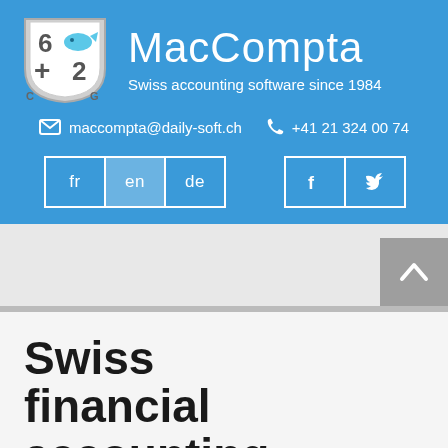[Figure (logo): MacCompta shield logo with numbers 6, 2, plus sign, fish icon, and letters C G]
MacCompta
Swiss accounting software since 1984
maccompta@daily-soft.ch  +41 21 324 00 74
fr  en  de  (language buttons) and Facebook, Twitter (social buttons)
Swiss financial accounting software
Created in 1984 by Frank Métrailler and available today b...